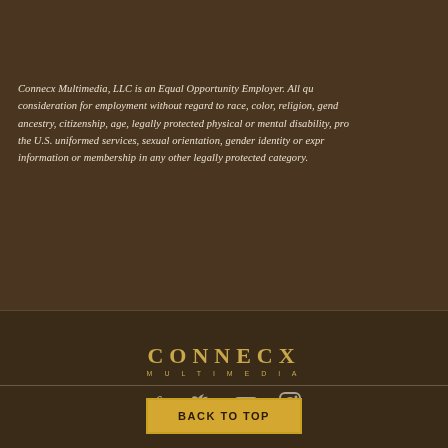Connecx Multimedia, LLC is an Equal Opportunity Employer. All qualified applicants will receive consideration for employment without regard to race, color, religion, gender, national origin, ancestry, citizenship, age, legally protected physical or mental disability, protected veteran status in the U.S. uniformed services, sexual orientation, gender identity or expression, genetic information or membership in any other legally protected category.
[Figure (logo): CONNECX MULTIMEDIA logo in gold/yellow color]
[Figure (infographic): Social media icons: Facebook, Twitter, YouTube, Instagram]
BACK TO TOP